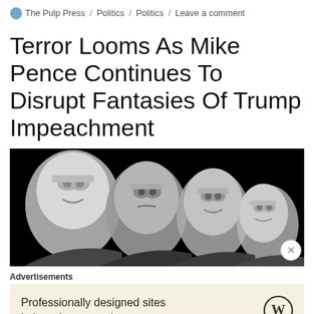The Pulp Press / Politics / Politics / Leave a comment
Terror Looms As Mike Pence Continues To Disrupt Fantasies Of Trump Impeachment
[Figure (photo): Black and white satirical photo montage showing four faces of Mike Pence arranged like Mount Rushmore against a black background]
Advertisements
[Figure (infographic): WordPress advertisement: 'Professionally designed sites in less than a week' with WordPress logo]